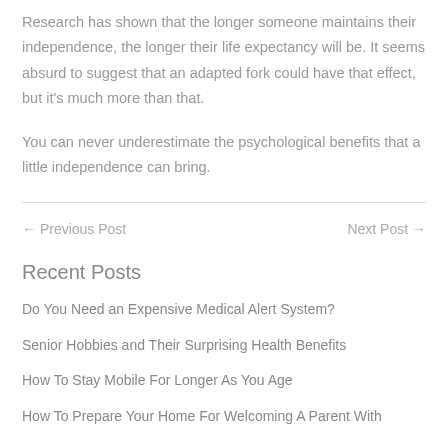Research has shown that the longer someone maintains their independence, the longer their life expectancy will be. It seems absurd to suggest that an adapted fork could have that effect, but it's much more than that.
You can never underestimate the psychological benefits that a little independence can bring.
← Previous Post
Next Post →
Recent Posts
Do You Need an Expensive Medical Alert System?
Senior Hobbies and Their Surprising Health Benefits
How To Stay Mobile For Longer As You Age
How To Prepare Your Home For Welcoming A Parent With